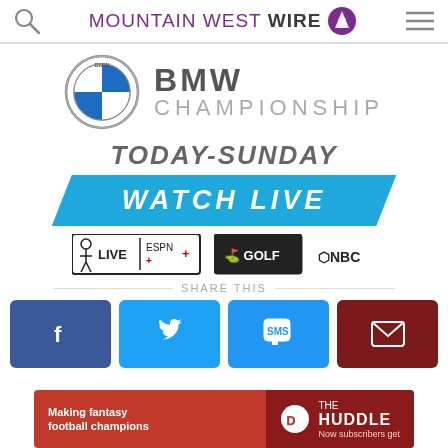MOUNTAIN WEST WIRE
[Figure (logo): BMW Championship logo with BMW roundel and text]
TODAY-SUNDAY
[Figure (infographic): WATCH LIVE blue parallelogram banner]
[Figure (logo): PGA Tour Live ESPN+ Golf NBC logos row]
SHARE THIS
[Figure (infographic): Share buttons: Facebook, Twitter, SMS, Email]
[Figure (infographic): The Huddle advertisement - Making fantasy football champions]